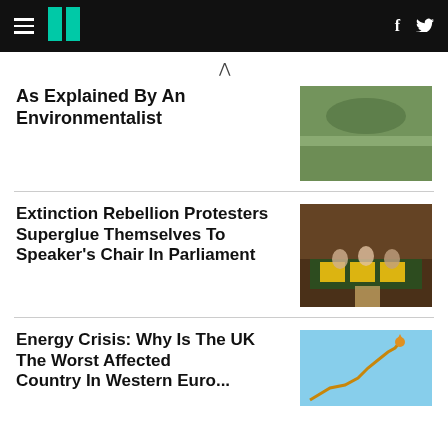HuffPost navigation with hamburger menu, logo, Facebook and Twitter icons
As Explained By An Environmentalist
Extinction Rebellion Protesters Superglue Themselves To Speaker's Chair In Parliament
Energy Crisis: Why Is The UK The Worst Affected Country In Western Europe?